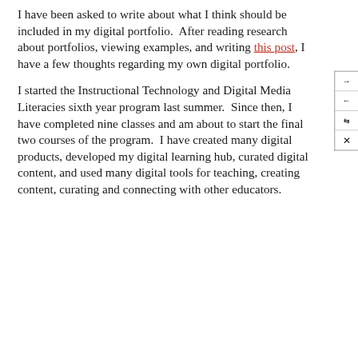I have been asked to write about what I think should be included in my digital portfolio.  After reading research about portfolios, viewing examples, and writing this post, I have a few thoughts regarding my own digital portfolio.
I started the Instructional Technology and Digital Media Literacies sixth year program last summer.  Since then, I have completed nine classes and am about to start the final two courses of the program.  I have created many digital products, developed my digital learning hub, curated digital content, and used many digital tools for teaching, creating content, curating and connecting with other educators.